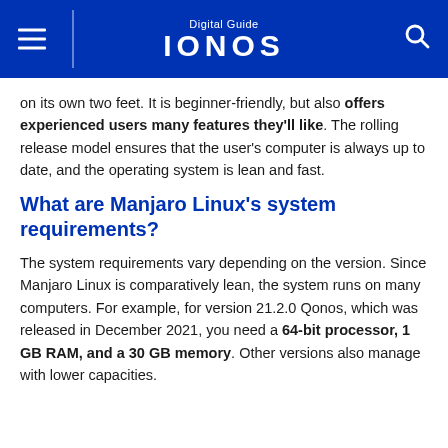Digital Guide IONOS
on its own two feet. It is beginner-friendly, but also offers experienced users many features they'll like. The rolling release model ensures that the user's computer is always up to date, and the operating system is lean and fast.
What are Manjaro Linux's system requirements?
The system requirements vary depending on the version. Since Manjaro Linux is comparatively lean, the system runs on many computers. For example, for version 21.2.0 Qonos, which was released in December 2021, you need a 64-bit processor, 1 GB RAM, and a 30 GB memory. Other versions also manage with lower capacities.